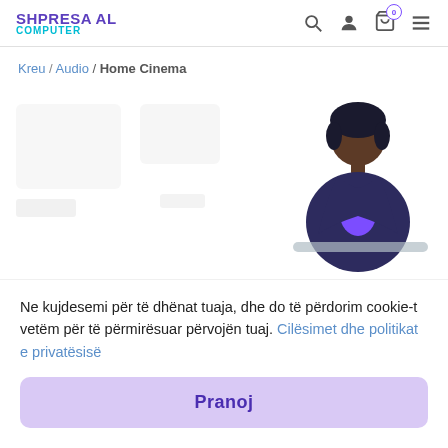SHPRESA AL COMPUTER
Kreu / Audio / Home Cinema
[Figure (illustration): A flat illustration of a person (dark skin, dark hair, wearing a dark jacket with purple shirt) sitting at a desk, used as an empty-state or cookie consent graphic. Behind are blurred/faded product card placeholders.]
Ne kujdesemi për të dhënat tuaja, dhe do të përdorim cookie-t vetëm për të përmirësuar përvojën tuaj. Cilësimet dhe politikat e privatësisë
Pranoj